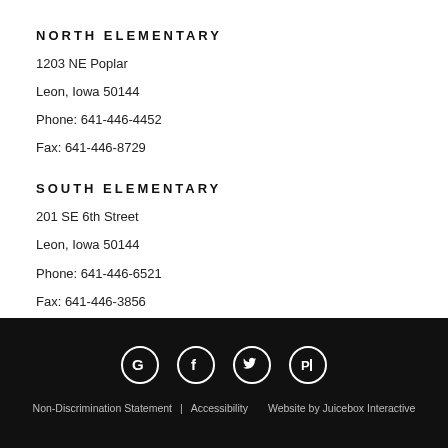NORTH ELEMENTARY
1203 NE Poplar
Leon, Iowa 50144
Phone: 641-446-4452
Fax: 641-446-8729
SOUTH ELEMENTARY
201 SE 6th Street
Leon, Iowa 50144
Phone: 641-446-6521
Fax: 641-446-3856
[Figure (other): Social media icons: Google, Facebook, Twitter, Peachjar — white icons on black background]
Non-Discrimination Statement | Accessibility   Website by Juicebox Interactive